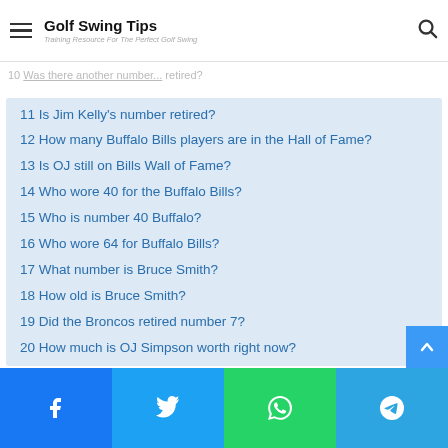Golf Swing Tips – Training Resource For The Perfect Golf Swing
11 Is Jim Kelly's number retired?
12 How many Buffalo Bills players are in the Hall of Fame?
13 Is OJ still on Bills Wall of Fame?
14 Who wore 40 for the Buffalo Bills?
15 Who is number 40 Buffalo?
16 Who wore 64 for Buffalo Bills?
17 What number is Bruce Smith?
18 How old is Bruce Smith?
19 Did the Broncos retired number 7?
20 How much is OJ Simpson worth right now?
21 Does the NFL retired numbers?
22 Was Orlando Magic 32?
23 Who wears number 33 in the NFL?
Facebook | Twitter | WhatsApp | Telegram